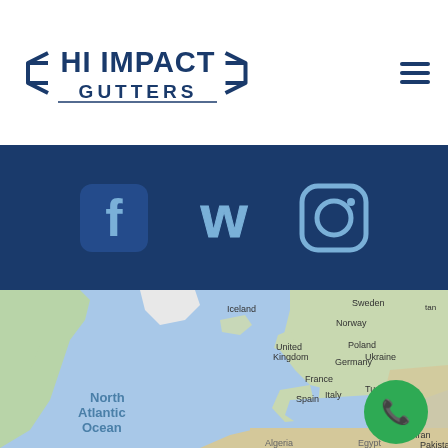[Figure (logo): Hi Impact Gutters logo with stylized chevron/wing shapes on either side of the text]
[Figure (infographic): Social media icons bar with dark blue background showing Facebook, Weebly, and Instagram icons in lighter blue]
[Figure (map): Google Maps view showing North Atlantic Ocean, Europe (Iceland, Sweden, Norway, United Kingdom, Poland, Germany, France, Spain, Italy, Ukraine, Turkey, Iraq, Iran), North Africa, and parts of Asia (Pakistan). A green phone call button overlay is visible in the lower right.]